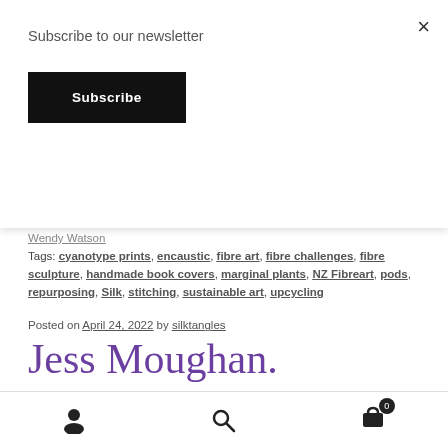Subscribe to our newsletter
Subscribe
Wendy Watson
Tags: cyanotype prints, encaustic, fibre art, fibre challenges, fibre sculpture, handmade book covers, marginal plants, NZ Fibreart, pods, repurposing, Silk, stitching, sustainable art, upcycling
Posted on April 24, 2022 by silktangles
Jess Moughan.